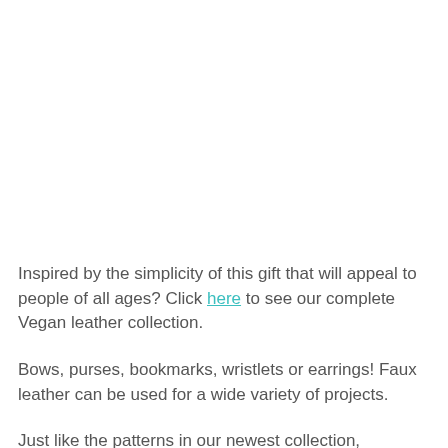Inspired by the simplicity of this gift that will appeal to people of all ages? Click here to see our complete Vegan leather collection.
Bows, purses, bookmarks, wristlets or earrings! Faux leather can be used for a wide variety of projects.
Just like the patterns in our newest collection,